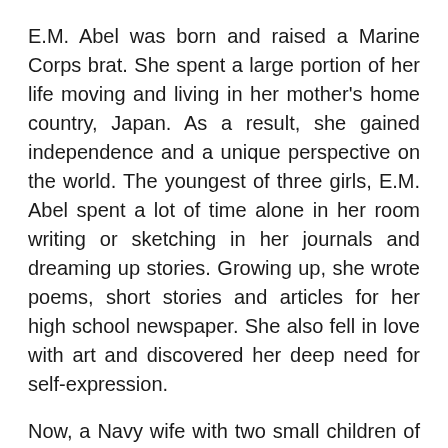E.M. Abel was born and raised a Marine Corps brat. She spent a large portion of her life moving and living in her mother's home country, Japan. As a result, she gained independence and a unique perspective on the world. The youngest of three girls, E.M. Abel spent a lot of time alone in her room writing or sketching in her journals and dreaming up stories. Growing up, she wrote poems, short stories and articles for her high school newspaper. She also fell in love with art and discovered her deep need for self-expression.
Now, a Navy wife with two small children of her own, she still loves being creative and most of all translating her stories into novels. E.M. Abel, now referred to as E or Em by her friends and readers, can often be found with her headphones on jamming out to punk rock, in a chair getting tattooed or cooking dinner for her kids and attending gymnastics